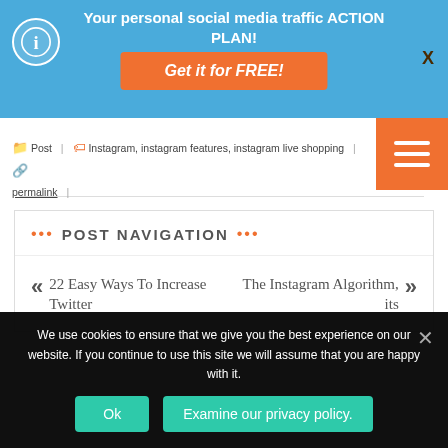[Figure (screenshot): Blue promotional banner with logo, text 'Your personal social media traffic ACTION PLAN!', orange 'Get it for FREE!' button, and X close button]
[Figure (screenshot): Orange hamburger menu button with three white horizontal lines]
Post | Instagram, instagram features, instagram live shopping | permalink |
POST NAVIGATION
« 22 Easy Ways To Increase Twitter
The Instagram Algorithm, its »
We use cookies to ensure that we give you the best experience on our website. If you continue to use this site we will assume that you are happy with it.
Ok | Examine our privacy policy.